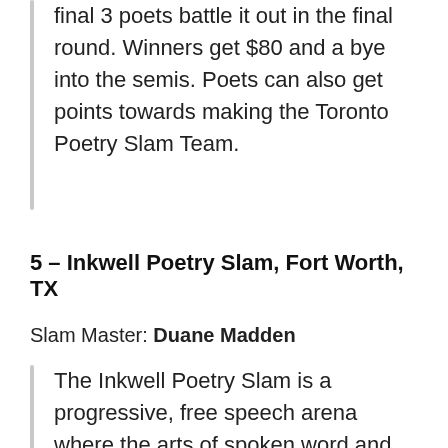final 3 poets battle it out in the final round. Winners get $80 and a bye into the semis. Poets can also get points towards making the Toronto Poetry Slam Team.
5 – Inkwell Poetry Slam, Fort Worth, TX
Slam Master: Duane Madden
The Inkwell Poetry Slam is a progressive, free speech arena where the arts of spoken word and performance poetry can